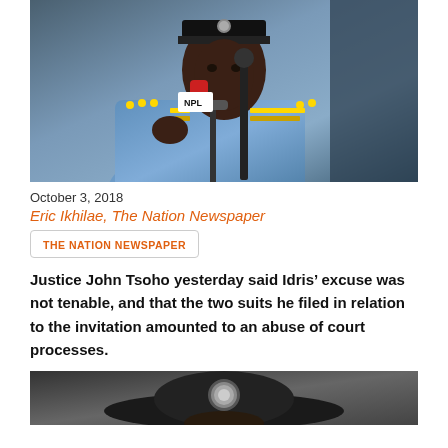[Figure (photo): Nigerian police officer in blue uniform speaking at a press conference with microphones]
October 3, 2018
Eric Ikhilae, The Nation Newspaper
THE NATION NEWSPAPER
Justice John Tsoho yesterday said Idris’ excuse was not tenable, and that the two suits he filed in relation to the invitation amounted to an abuse of court processes.
[Figure (photo): Close-up of Nigerian police officer hat with insignia]